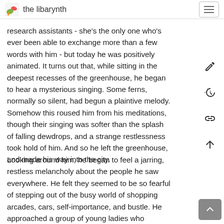the libarynth
research assistants - she's the only one who's ever been able to exchange more than a few words with him - but today he was positively animated. It turns out that, while sitting in the deepest recesses of the greenhouse, he began to hear a mysterious singing. Some ferns, normally so silent, had begun a plaintive melody. Somehow this roused him from his meditations, though their singing was softer than the splash of falling dewdrops, and a strange restlessness took hold of him. And so he left the greenhouse, and made his way into the city.
Looking around him, he began to feel a jarring, restless melancholy about the people he saw everywhere. He felt they seemed to be so fearful of stepping out of the busy world of shopping arcades, cars, self-importance, and bustle. He approached a group of young ladies who appeared to be deeply absorbed in a mystical trance, buying makeup, clothes